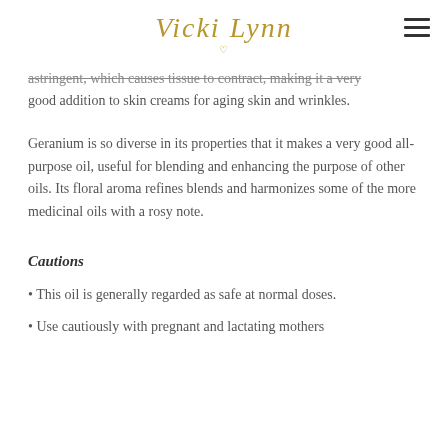Vicki Lynn
astringent, which causes tissue to contract, making it a very good addition to skin creams for aging skin and wrinkles.
Geranium is so diverse in its properties that it makes a very good all-purpose oil, useful for blending and enhancing the purpose of other oils. Its floral aroma refines blends and harmonizes some of the more medicinal oils with a rosy note.
Cautions
This oil is generally regarded as safe at normal doses.
Use cautiously with pregnant and lactating mothers